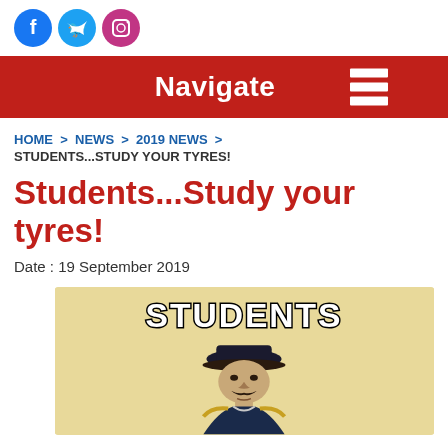[Figure (illustration): Three social media icons: Facebook (blue circle), Twitter (light blue circle), Instagram (purple/pink circle with envelope icon)]
Navigate ☰
HOME > NEWS > 2019 NEWS > STUDENTS...STUDY YOUR TYRES!
Students...Study your tyres!
Date : 19 September 2019
[Figure (illustration): A vintage-style poster image with beige/cream background showing a military officer figure (reminiscent of Kitchener recruitment poster) with the text STUDENTS at the top in bold white letters with black outline]